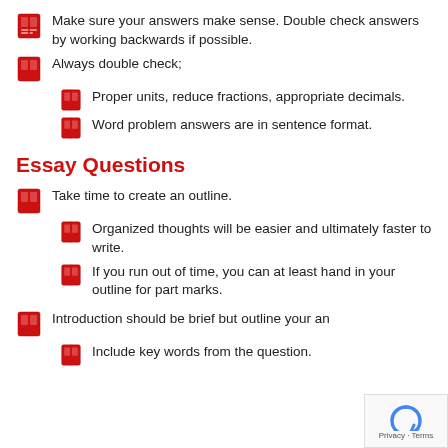Make sure your answers make sense. Double check answers by working backwards if possible.
Always double check;
Proper units, reduce fractions, appropriate decimals.
Word problem answers are in sentence format.
Essay Questions
Take time to create an outline.
Organized thoughts will be easier and ultimately faster to write.
If you run out of time, you can at least hand in your outline for part marks.
Introduction should be brief but outline your an
Include key words from the question.